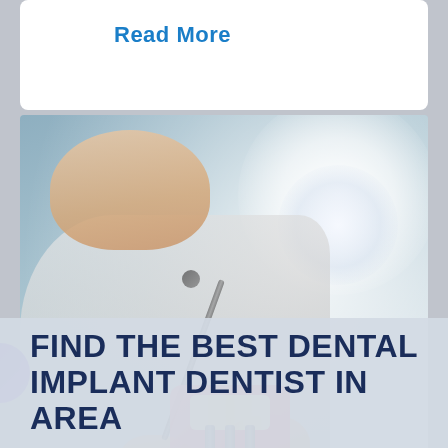Read More
[Figure (photo): A smiling dental professional in white coat holding a dental implant model, with a bright dental light in background]
FIND THE BEST DENTAL IMPLANT DENTIST IN AREA